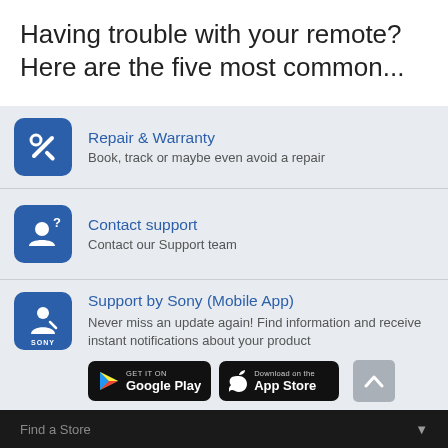Having trouble with your remote? Here are the five most common...
Repair & Warranty
Book, track or maybe even avoid a repair
Contact support
Contact our Support team
Support by Sony (Mobile App)
Never miss an update again! Find information and receive instant notifications about your product
[Figure (screenshot): Google Play store download button]
[Figure (screenshot): Apple App Store download button]
Find a Store